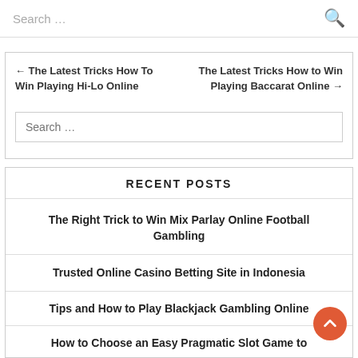Search …
← The Latest Tricks How To Win Playing Hi-Lo Online    The Latest Tricks How to Win Playing Baccarat Online →
Search …
RECENT POSTS
The Right Trick to Win Mix Parlay Online Football Gambling
Trusted Online Casino Betting Site in Indonesia
Tips and How to Play Blackjack Gambling Online
How to Choose an Easy Pragmatic Slot Game to